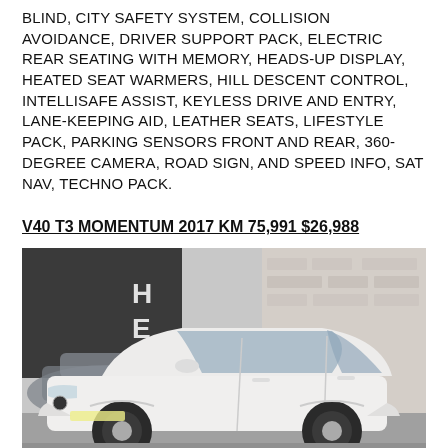BLIND, CITY SAFETY SYSTEM, COLLISION AVOIDANCE, DRIVER SUPPORT PACK, ELECTRIC REAR SEATING WITH MEMORY, HEADS-UP DISPLAY, HEATED SEAT WARMERS, HILL DESCENT CONTROL, INTELLISAFE ASSIST, KEYLESS DRIVE AND ENTRY, LANE-KEEPING AID, LEATHER SEATS, LIFESTYLE PACK, PARKING SENSORS FRONT AND REAR, 360-DEGREE CAMERA, ROAD SIGN, AND SPEED INFO, SAT NAV, TECHNO PACK.
V40 T3 MOMENTUM 2017 KM 75,991 $26,988
[Figure (photo): A white Volvo V40 hatchback parked in a car dealership lot, viewed from a front three-quarter angle. A brick wall is visible in the background on the right, and a dark building with partial lettering is visible on the left. Another grey car is partially visible behind the Volvo.]